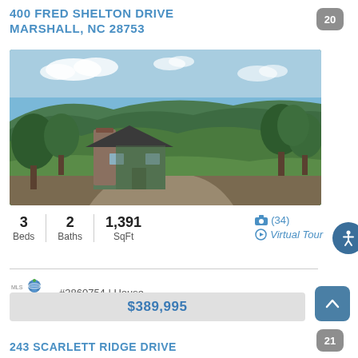400 FRED SHELTON DRIVE MARSHALL, NC 28753
20
[Figure (photo): Aerial view of a house with dark roof and green siding surrounded by dense green forested hills under a blue sky with clouds, gravel driveway visible.]
3 Beds | 2 Baths | 1,391 SqFt
(34) Virtual Tour
#3860754 | House
$389,995
243 SCARLETT RIDGE DRIVE
21